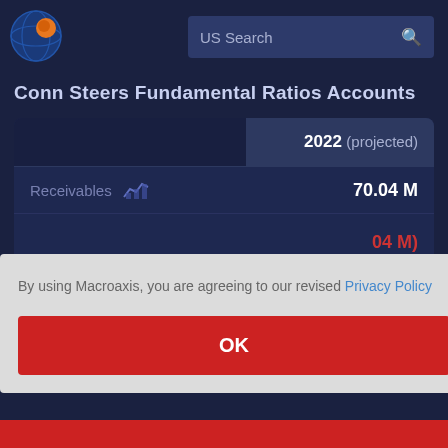[Figure (logo): Macroaxis globe logo with orange and blue colors]
US Search
Conn Steers Fundamental Ratios Accounts
|  | 2022 (projected) |
| --- | --- |
| Receivables | 70.04 M |
|  | (70.04 M) |
|  | 36 M |
|  | 03 M |
By using Macroaxis, you are agreeing to our revised Privacy Policy
OK